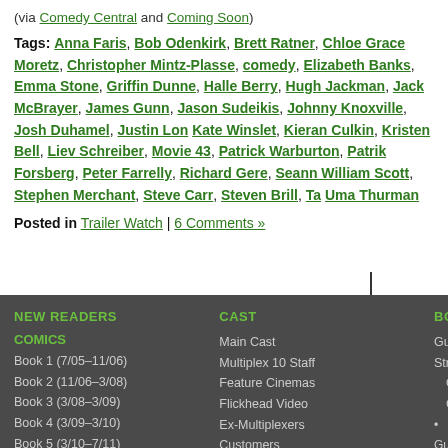(via Comedy Central and Coming Soon)
Tags: Anna Faris, Bob Odenkirk, Brett Ratner, Chloe Grace Moretz, Christopher Mintz-Plasse, comedy, Elizabeth Banks, Emma Stone, Griffin Dunne, Halle Berry, Hugh Jackman, Jack McBrayer, James Gunn, Jason Sudeikis, Johnny Knoxville, Josh Duhamel, Justin Lon, Kate Winslet, Kieran Culkin, Kristen Bell, Liev Schreiber, Movie 43, Patrick Warburton, Patrik Forsberg, Peter Farrelly, Richard Gere, R, Seann William Scott, Stephen Merchant, Steve Carr, Steven Brill, Ta, Uma Thurman
Posted in Trailer Watch | 6 Comments »
NEW READERS | CAST | BONUS
COMICS
Book 1 (7/05–11/06)
Book 2 (11/06–3/08)
Book 3 (3/08–3/09)
Book 4 (3/09–3/10)
Book 5 (3/10–7/11)
Book 6 (7/11–12/12)
Book 7 (1/13–5/14)
Main Cast
Multiplex 10 Staff
Feature Cinemas
Flickhead Video
Ex-Multiplexers
Customers
Guest Str
Other C
• Guest
• Multip
• Multip
Extras